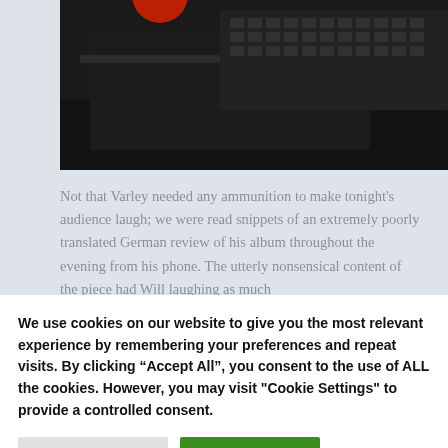[Figure (photo): Partial view of a typewriter on a dark background, seen from above. A red circular element is partially visible at the top.]
Not that Varley needed any ammunition to make tonight's audience laugh; we were read snippets of an extremely poorly translated German review of his album throughout the evening from his phone. The utterly nonsensical content of the piece had Will laughing as much
We use cookies on our website to give you the most relevant experience by remembering your preferences and repeat visits. By clicking "Accept All", you consent to the use of ALL the cookies. However, you may visit "Cookie Settings" to provide a controlled consent.